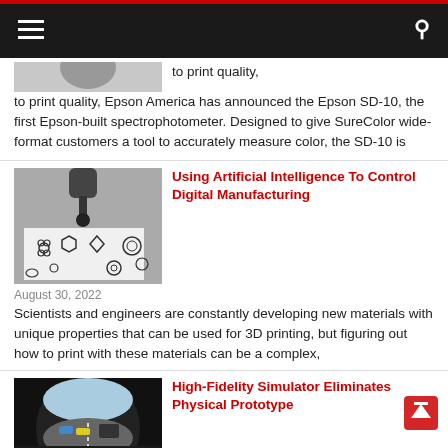Navigation bar with menu and search icons
[Figure (photo): Partial top image of article about Epson SD-10 spectrophotometer]
to print quality, Epson America has announced the Epson SD-10, the first Epson-built spectrophotometer. Designed to give SureColor wide-format customers a tool to accurately measure color, the SD-10 is
[Figure (photo): Close-up photo of a robotic arm or machine drawing/printing various geometric shape outlines on white paper — flowers, hexagons, arrows, circles with spokes, etc.]
Using Artificial Intelligence To Control Digital Manufacturing
August 30, 2022
Scientists and engineers are constantly developing new materials with unique properties that can be used for 3D printing, but figuring out how to print with these materials can be a complex,
[Figure (photo): Wide-angle fisheye view from inside a vehicle simulator cabin showing a highway scene with cars and trucks, dashboard visible at bottom]
High-Fidelity Simulator Eliminates Physical Prototype